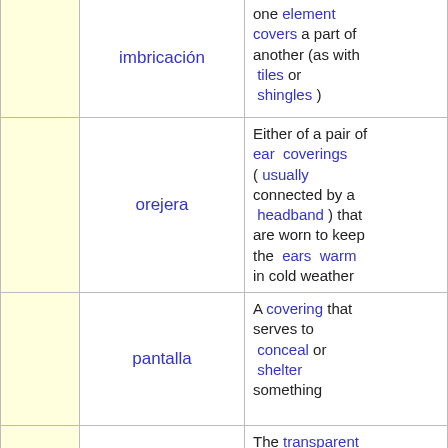|  | Term | Definition |
| --- | --- | --- |
|  | imbricación | one element covers a part of another (as with tiles or shingles ) |
|  | orejera | Either of a pair of ear coverings ( usually connected by a headband ) that are worn to keep the ears warm in cold weather |
|  | pantalla | A covering that serves to conceal or shelter something |
|  | parabrisas | The transparent covering of an aircraft cockpit |
|  | protección | A covering that is intend to |